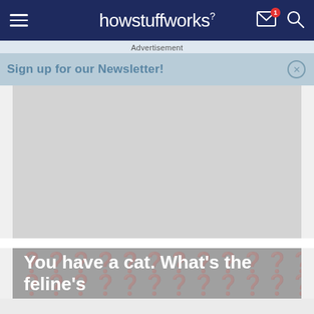howstuffworks
Advertisement
Sign up for our Newsletter!
[Figure (other): Gray advertisement placeholder rectangle]
You have a cat. What's the feline's